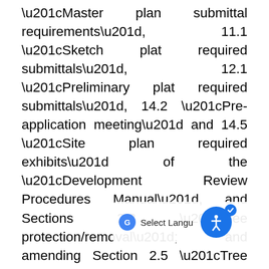“Master plan submittal requirements”, 11.1 “Sketch plat required submittals”, 12.1 “Preliminary plat required submittals”, 14.2 “Pre-application meeting” and 14.5 “Site plan required exhibits” of the “Development Review Procedures Manual”, and Sections 2.3 “Tree protection/removal”; and amending Section 2.5 “Tree protection during construction” of the “Environmental Protection Technical Manual” to amend requirements for pavement and grade changes within a critical root zone; providing for severability, repeal of conflicting ordinances, effective date and incorporation into the code. (This is the first reading. The second reading and public ordinance is scheduled to be heard by City Council on January 25, 2022, beginning at